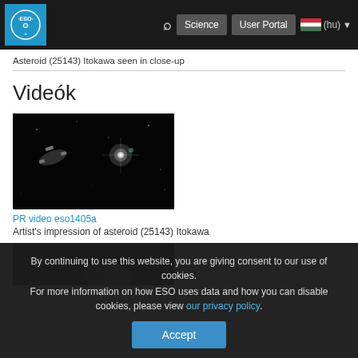ESO — Science | User Portal | (hu)
Asteroid (25143) Itokawa seen in close-up
Videók
[Figure (photo): Dark space scene showing an asteroid or spacecraft with a bright star in the background, artist's impression]
PR video eso1405a
Artist's impression of asteroid (25143) Itokawa
[Figure (photo): Dark space scene showing a rocky asteroid body against a starfield]
By continuing to use this website, you are giving consent to our use of cookies. For more information on how ESO uses data and how you can disable cookies, please view our privacy policy.